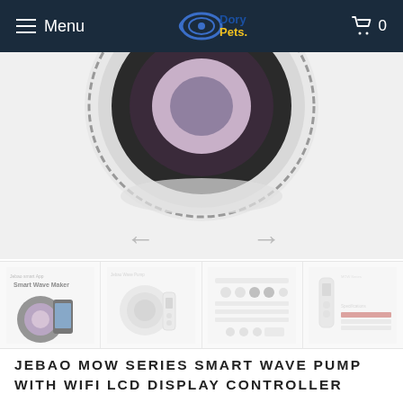Menu  [Dory Pets logo]  Cart 0
[Figure (photo): Product image of Jebao MOW Series Smart Wave Pump — top-down view of circular pump with dark impeller housing, partially cropped at top, with navigation arrows (← →) below]
[Figure (photo): Four product thumbnail images: 1) Smart Wave Maker product shot with phone, 2) pump with remote, 3) control panel/button layout diagram, 4) remote control and spec sheet]
JEBAO MOW SERIES SMART WAVE PUMP WITH WIFI LCD DISPLAY CONTROLLER
Jebao
R 1,499.00